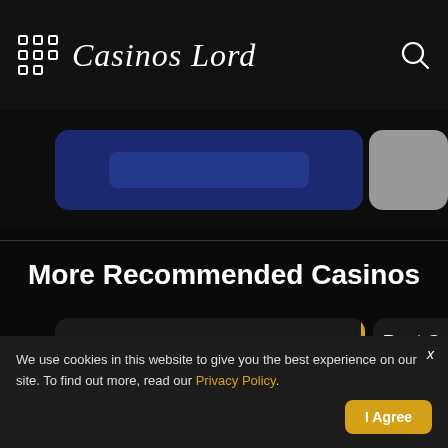Casinos Lord
[Figure (screenshot): Partial screenshot of a casino website banner with blue card and gray card visible]
More Recommended Casinos
[Figure (screenshot): New Casinos card with View All button, Total Casinos label, roulette wheel icon, yellow vertical bar; partial Best Ca card visible]
We use cookies in this website to give you the best experience on our site. To find out more, read our Privacy Policy.
I Agree